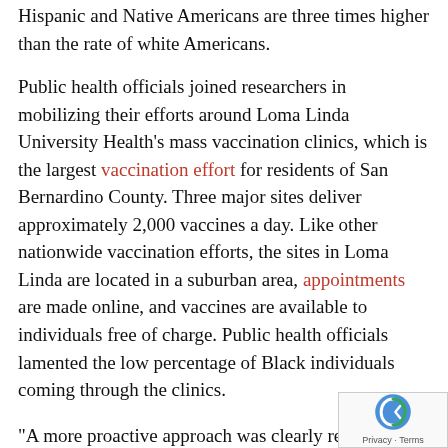Hispanic and Native Americans are three times higher than the rate of white Americans.
Public health officials joined researchers in mobilizing their efforts around Loma Linda University Health's mass vaccination clinics, which is the largest vaccination effort for residents of San Bernardino County. Three major sites deliver approximately 2,000 vaccines a day. Like other nationwide vaccination efforts, the sites in Loma Linda are located in a suburban area, appointments are made online, and vaccines are available to individuals free of charge. Public health officials lamented the low percentage of Black individuals coming through the clinics.
“A more proactive approach was clearly required,” Abdul-Mutakabbir said.
Will you give a donation to Adventist